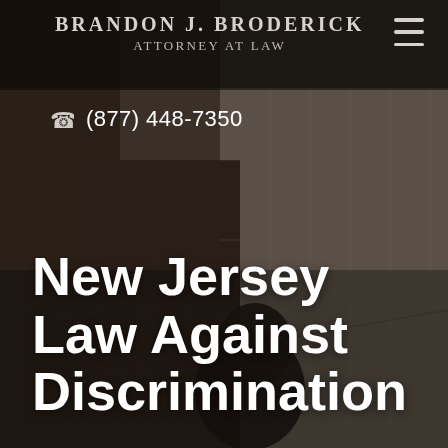[Figure (photo): Dark background photo of a person among cardboard boxes, used as hero image for law firm website page]
Brandon J. Broderick Attorney At Law
(877) 448-7350
New Jersey Law Against Discrimination